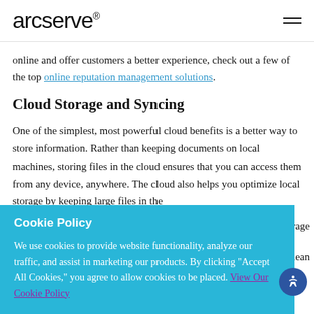arcserve®
online and offer customers a better experience, check out a few of the top online reputation management solutions.
Cloud Storage and Syncing
One of the simplest, most powerful cloud benefits is a better way to store information. Rather than keeping documents on local machines, storing files in the cloud ensures that you can access them from any device, anywhere. The cloud also helps you optimize local storage by keeping large files in the
Cookie Policy

We use cookies to provide website functionality, analyze our traffic, and assist in marketing our products. By clicking "Accept All Cookies," you agree to allow cookies to be placed. View Our Cookie Policy